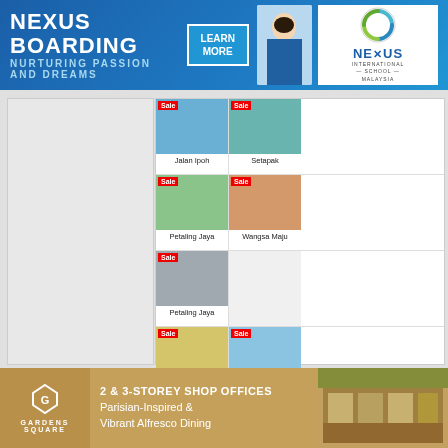[Figure (infographic): Nexus Boarding school advertisement banner with text NEXUS BOARDING and NURTURING PASSION AND DREAMS, LEARN MORE button, student photo, and Nexus International School Malaysia logo]
[Figure (infographic): Real estate property listings grid showing multiple properties for Sale and Rent in various locations: Jalan Ipoh, Setapak, Petaling Jaya, Wangsa Maju, Petaling Jaya (multiple), Sri Hartamas, Kajang, Bangar, Cyberjaya, Seri Kembangan]
[Figure (infographic): Gardens Square advertisement banner with logo, 2 & 3-Storey Shop Offices text, Parisian-Inspired & Vibrant Alfresco Dining, and property image]